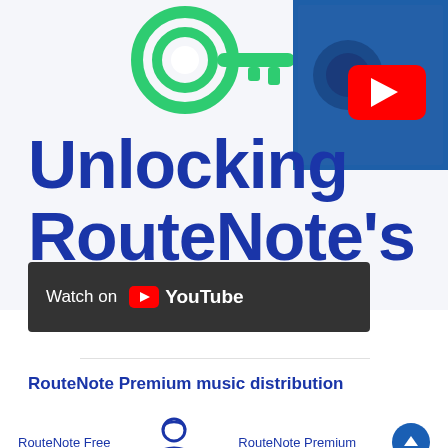[Figure (screenshot): Top section showing a green key icon at top center and a YouTube video thumbnail in the top right corner with a red YouTube play button overlay. A large dark blue bold text reads 'Unlocking RouteNote's' partially visible. A dark gray bar with 'Watch on YouTube' text and YouTube logo is overlaid on the bottom portion of the video thumbnail area.]
Unlocking RouteNote's
[Figure (screenshot): Watch on YouTube button bar - dark gray background with white 'Watch on' text followed by YouTube logo (play button icon and YouTube wordmark in white)]
RouteNote Premium music distribution
[Figure (illustration): Bottom section showing three elements: 'RouteNote Free' label on the left, a blue illustrated person/character icon in the center, and 'RouteNote Premium' label on the right, plus a blue circular up-arrow button on the far right.]